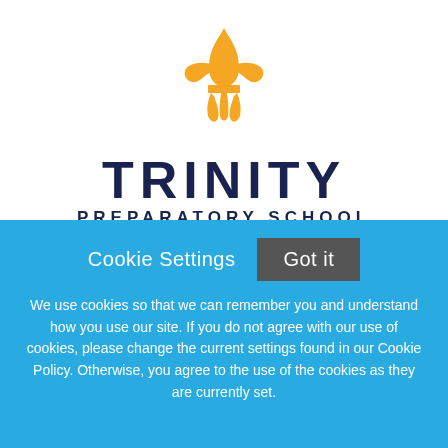[Figure (logo): Trinity Preparatory School logo: golden fleur-de-lis above 'TRINITY PREPARATORY SCHOOL' in dark navy text]
Chief Financial Officer (July 2023)
Trinity Preparatory School
Cookie Settings  Got it

We use cookies so that we can remember you and understand how you use our site. If you do not agree with our use of cookies, please change the current settings found in our Cookie Policy. Otherwise, you agree to the use of the cookies as they are currently set.